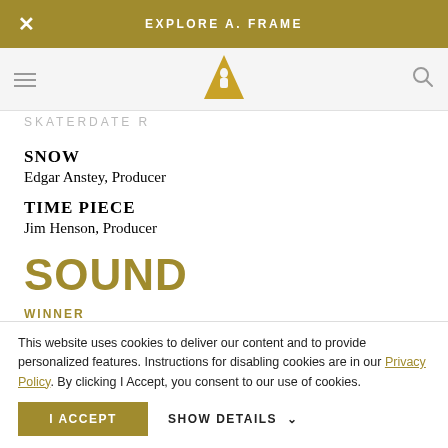EXPLORE A.FRAME
[Figure (logo): Oscars golden statuette logo (triangle/A-frame shape in gold)]
SKATERDATE
SNOW
Edgar Anstey, Producer
TIME PIECE
Jim Henson, Producer
SOUND
WINNER
THE SOUND OF MUSIC
20th Century-Fox Studio Sound Department, James P. Corcoran, Sound Director; and Todd-AO Sound Department, Fred Hynes
This website uses cookies to deliver our content and to provide personalized features. Instructions for disabling cookies are in our Privacy Policy. By clicking I Accept, you consent to our use of cookies.